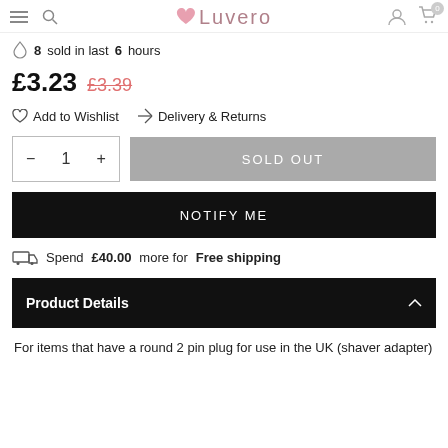Luvero
8 sold in last 6 hours
£3.23  £3.39
Add to Wishlist   Delivery & Returns
− 1 +   SOLD OUT
NOTIFY ME
Spend £40.00 more for Free shipping
Product Details
For items that have a round 2 pin plug for use in the UK (shaver adapter)